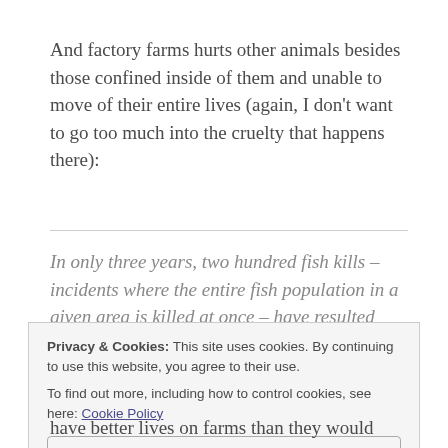And factory farms hurts other animals besides those confined inside of them and unable to move of their entire lives (again, I don't want to go too much into the cruelty that happens there):
In only three years, two hundred fish kills – incidents where the entire fish population in a given area is killed at once – have resulted from
Privacy & Cookies: This site uses cookies. By continuing to use this website, you agree to their use. To find out more, including how to control cookies, see here: Cookie Policy
Close and accept
have better lives on farms than they would have in